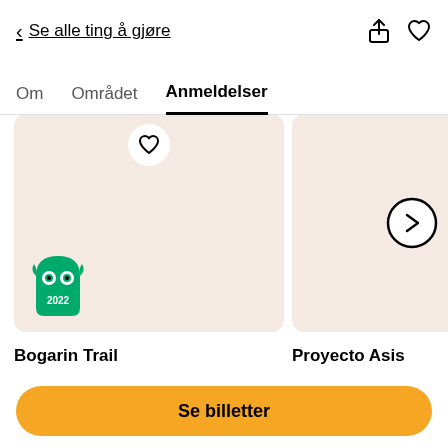< Se alle ting å gjøre
Om   Området   Anmeldelser
[Figure (screenshot): Left card with pinkish-beige background and TripAdvisor 2022 badge in bottom left corner, heart icon at top center on white circle button]
Bogarin Trail
[Figure (screenshot): Right card (partially visible) with pinkish-beige background and a right-arrow circle button in the center-right]
Proyecto Asis
Se billetter